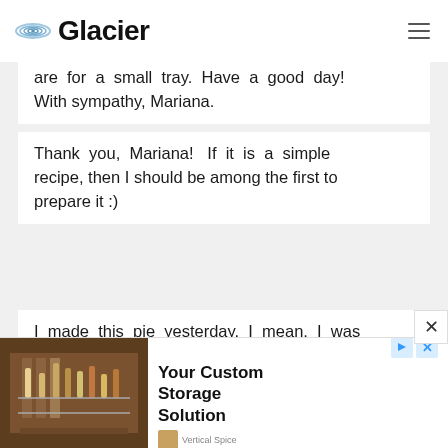Glacier
are for a small tray. Have a good day! With sympathy, Mariana.
Thank you, Mariana! If it is a simple recipe, then I should be among the first to prepare it :)
I made this pie yesterday. I mean, I was very disappointed with how it turned out. Hard sheets, especially the bottom one.
[Figure (photo): Advertisement banner for Vertical Spice showing kitchen spice storage organizer with text 'Your Custom Storage Solution']